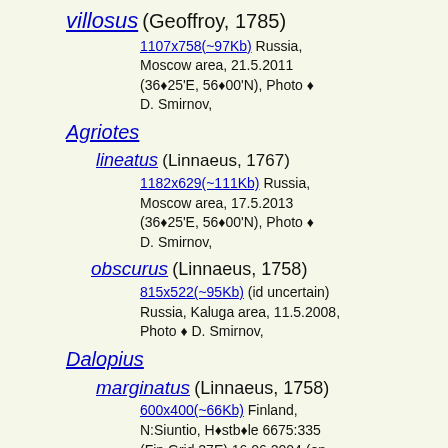villosus (Geoffroy, 1785)
1107x758(~97Kb) Russia, Moscow area, 21.5.2011 (36◆25'E, 56◆00'N), Photo ◆ D. Smirnov,
Agriotes
lineatus (Linnaeus, 1767)
1182x629(~111Kb) Russia, Moscow area, 17.5.2013 (36◆25'E, 56◆00'N), Photo ◆ D. Smirnov,
obscurus (Linnaeus, 1758)
815x522(~95Kb) (id uncertain) Russia, Kaluga area, 11.5.2008, Photo ◆ D. Smirnov,
Dalopius
marginatus (Linnaeus, 1758)
600x400(~66Kb) Finland, N:Siuntio, H◆stb◆le 6675:335 (Fin Grid 27E) 16.06.2004 (on _Corylus avellana_), Photo ◆ Hannu Tanner,
Lycidae
Lycinae
Lycus
fernandezi
1000x1301(~188Kb) (id